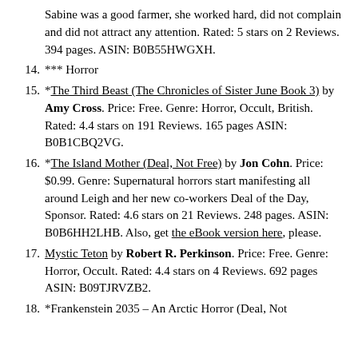(continuation) Sabine was a good farmer, she worked hard, did not complain and did not attract any attention. Rated: 5 stars on 2 Reviews. 394 pages. ASIN: B0B55HWGXH.
14. *** Horror
15. *The Third Beast (The Chronicles of Sister June Book 3) by Amy Cross. Price: Free. Genre: Horror, Occult, British. Rated: 4.4 stars on 191 Reviews. 165 pages ASIN: B0B1CBQ2VG.
16. *The Island Mother (Deal, Not Free) by Jon Cohn. Price: $0.99. Genre: Supernatural horrors start manifesting all around Leigh and her new co-workers Deal of the Day, Sponsor. Rated: 4.6 stars on 21 Reviews. 248 pages. ASIN: B0B6HH2LHB. Also, get the eBook version here, please.
17. Mystic Teton by Robert R. Perkinson. Price: Free. Genre: Horror, Occult. Rated: 4.4 stars on 4 Reviews. 692 pages ASIN: B09TJRVZB2.
18. *Frankenstein 2035 – An Arctic Horror (Deal, Not